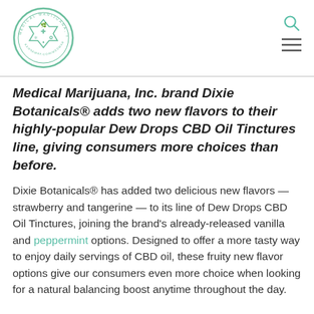[Figure (logo): Medical Marijuana, Inc. circular logo with green border and text]
Medical Marijuana, Inc. brand Dixie Botanicals® adds two new flavors to their highly-popular Dew Drops CBD Oil Tinctures line, giving consumers more choices than before.
Dixie Botanicals® has added two delicious new flavors — strawberry and tangerine — to its line of Dew Drops CBD Oil Tinctures, joining the brand's already-released vanilla and peppermint options. Designed to offer a more tasty way to enjoy daily servings of CBD oil, these fruity new flavor options give our consumers even more choice when looking for a natural balancing boost anytime throughout the day.